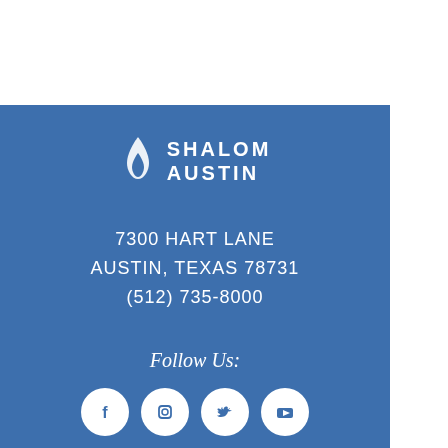[Figure (logo): Shalom Austin logo with flame icon and text SHALOM AUSTIN on blue background]
7300 HART LANE
AUSTIN, TEXAS 78731
(512) 735-8000
Follow Us:
[Figure (illustration): Four white social media icons on blue background: Facebook, Instagram, Twitter, YouTube]